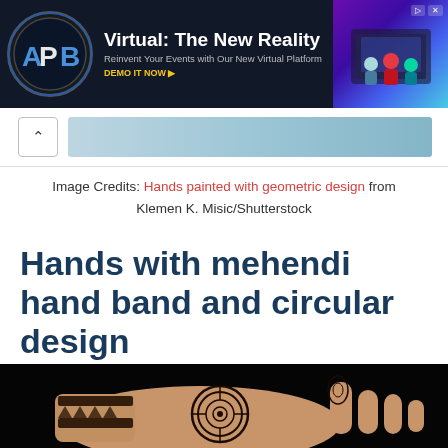[Figure (photo): APB Speakers advertisement banner: 'Virtual: The New Reality — Reinvent Your Events with Our New Virtual Platform. DEMO IT NOW.' Dark background with logo and colorful virtual event imagery.]
[Figure (screenshot): Collapsed web UI element showing an up-arrow chevron button and a blurred preview strip of an image below the ad banner.]
Image Credits: Hands painted with geometric design from Klemen K. Misic/Shutterstock
Hands with mehendi hand band and circular design
[Figure (photo): A hand decorated with henna/mehendi design featuring a circular mandala on the back of the hand, a band design around the wrist, and a small motif on the finger, photographed against a black background.]